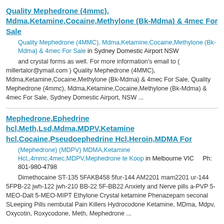Quality Mephedrone (4mmc), Mdma,Ketamine,Cocaine,Methylone (Bk-Mdma) & 4mec For Sale
Quality Mephedrone (4MMC), Mdma,Ketamine,Cocaine,Methylone (Bk-Mdma) & 4mec For Sale in Sydney Domestic Airport NSW
and crystal forms as well. For more information's email to ( millertalor@ymail.com ) Quality Mephedrone (4MMC), Mdma,Ketamine,Cocaine,Methylone (Bk-Mdma) & 4mec For Sale, Quality Mephedrone (4mmc), Mdma,Ketamine,Cocaine,Methylone (Bk-Mdma) & 4mec For Sale, Sydney Domestic Airport, NSW ...
Mephedrone,Ephedrine hcl,Meth,Lsd,Mdma,MDPV,Ketamine hcl,Cocaine,Pseudoephedrine Hcl,Heroin,MDMA For
(Mephedrone) (MDPV) MDMA,Ketamine Hcl,,4mmc,4mec,MDPV,Mephedrone te Koop in Melbourne VIC    Ph: 801-980-4798
Dimethocaine ST-135 5FAKB458 5fur-144 AM2201 mam2201 ur-144 5FPB-22 jwh-122 jwh-210 BB-22 5F-BB22 Anxiety and Nerve pills a-PVP 5-MEO-Dalt 5-MEO-MIPT Ethylone Crystal ketamine Phenazepam seconal SLeeping Pills nembutal Pain Killers Hydrocodone Ketamine, MDma, Mdpv, Oxycotin, Roxycodone, Meth, Mephedrone ...
Quality Mephedrone (4mmc), Mdma,Ketamine,Cocaine,Methylone (Bk-Mdma) & 4mec For Sale
Quality Mephedrone (4mmc), Mdma,Ketamine,Cocaine,Methylone (Bk-Mdma) & 4mec For Sale in Sydney Olympic Park NSW